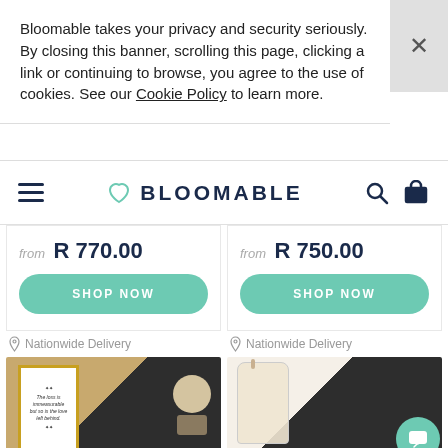Bloomable takes your privacy and security seriously. By closing this banner, scrolling this page, clicking a link or continuing to browse, you agree to the use of cookies. See our Cookie Policy to learn more.
[Figure (logo): Bloomable logo with heart icon, hamburger menu, search and cart icons]
from R 770.00
SHOP NOW
from R 750.00
SHOP NOW
Nationwide Delivery
[Figure (photo): Product photo: framed print with text and candle on dark background]
Nationwide Delivery
[Figure (photo): Product photo: woven bag and accessories on dark background]